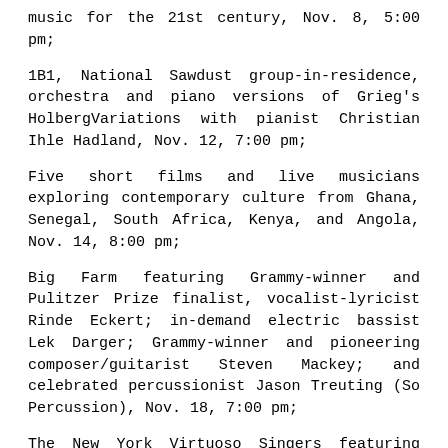music for the 21st century, Nov. 8, 5:00 pm;
1B1, National Sawdust group-in-residence, orchestra and piano versions of Grieg's HolbergVariations with pianist Christian Ihle Hadland, Nov. 12, 7:00 pm;
Five short films and live musicians exploring contemporary culture from Ghana, Senegal, South Africa, Kenya, and Angola, Nov. 14, 8:00 pm;
Big Farm featuring Grammy-winner and Pulitzer Prize finalist, vocalist-lyricist Rinde Eckert; in-demand electric bassist Lek Darger; Grammy-winner and pioneering composer/guitarist Steven Mackey; and celebrated percussionist Jason Treuting (So Percussion), Nov. 18, 7:00 pm;
The New York Virtuoso Singers featuring Brent Funderburk, piano, with The Canticum Novum Youth Choir, Edie Rosenbaum, Director, featuring ten world premieres by ten ASCAP Foundation Morton Gould Young Composer Award winners, Nov. 29, 2:00 pm; and much more.
The full calendar and everything you need to know about National Sawdust is at